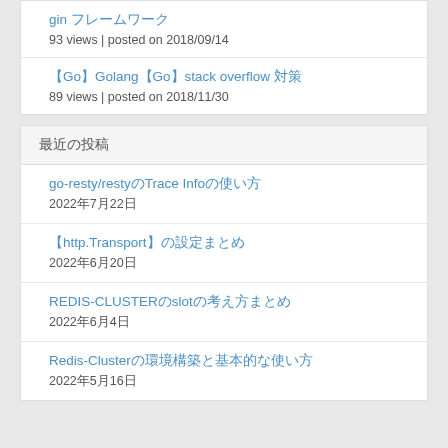gin フレームワーク
93 views | posted on 2018/09/14
【Go】Golang【Go】stack overflow 対策
89 views | posted on 2018/11/30
最近の投稿
go-resty/restyのTrace Infoの使い方
2022年7月22日
【http.Transport】の設定まとめ
2022年6月20日
REDIS-CLUSTERのslotの考え方まとめ
2022年6月4日
Redis-Clusterの環境構築と基本的な使い方
2022年5月16日